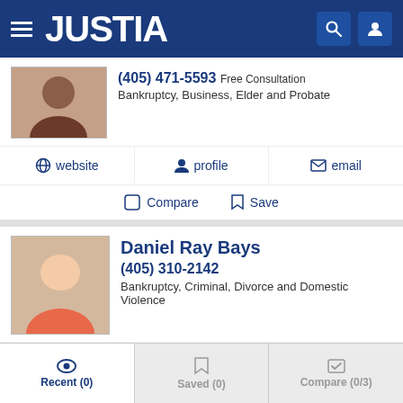JUSTIA
(405) 471-5593 Free Consultation
Bankruptcy, Business, Elder and Probate
website  profile  email
Compare  Save
Daniel Ray Bays
(405) 310-2142
Bankruptcy, Criminal, Divorce and Domestic Violence
website  profile  email
Compare  Save
Recent (0)  Saved (0)  Compare (0/3)